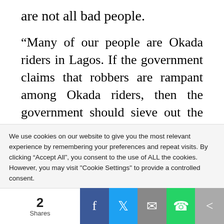are not all bad people.
“Many of our people are Okada riders in Lagos. If the government claims that robbers are rampant among Okada riders, then the government should sieve out the criminals. The government should provide replacement for our members affected by the ban.
We use cookies on our website to give you the most relevant experience by remembering your preferences and repeat visits. By clicking “Accept All”, you consent to the use of ALL the cookies. However, you may visit "Cookie Settings" to provide a controlled consent.
2 Shares